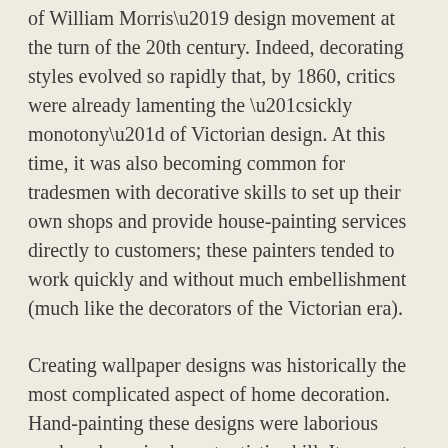of William Morris' design movement at the turn of the 20th century. Indeed, decorating styles evolved so rapidly that, by 1860, critics were already lamenting the “sickly monotony” of Victorian design. At this time, it was also becoming common for tradesmen with decorative skills to set up their own shops and provide house-painting services directly to customers; these painters tended to work quickly and without much embellishment (much like the decorators of the Victorian era).
Creating wallpaper designs was historically the most complicated aspect of home decoration. Hand-painting these designs were laborious work and required great artistic skill. It was not until the mid-19th century that machine-made papers with pre-printed designs became widely available, thus opening the way for a revolution in home decoration. To begin with, only undecorated white paper was